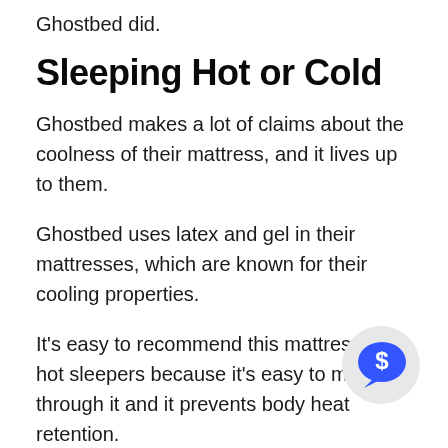Ghostbed did.
Sleeping Hot or Cold
Ghostbed makes a lot of claims about the coolness of their mattress, and it lives up to them.
Ghostbed uses latex and gel in their mattresses, which are known for their cooling properties.
It's easy to recommend this mattress to hot sleepers because it's easy to move air through it and it prevents body heat retention.
[Figure (illustration): A circular chat bubble icon with a dollar sign inside, light gray background circle with a blue speech bubble containing a white dollar sign symbol.]
Motion Transfer